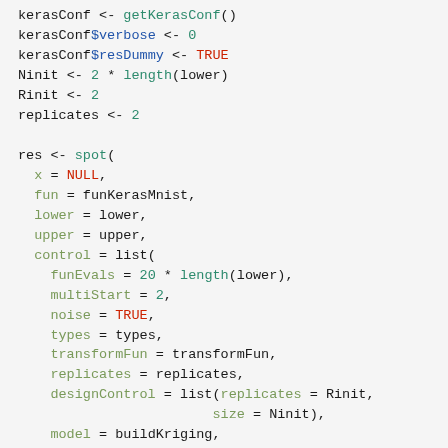kerasConf <- getKerasConf()
kerasConf$verbose <- 0
kerasConf$resDummy <- TRUE
Ninit <- 2 * length(lower)
Rinit <- 2
replicates <- 2

res <- spot(
  x = NULL,
  fun = funKerasMnist,
  lower = lower,
  upper = upper,
  control = list(
    funEvals = 20 * length(lower),
    multiStart = 2,
    noise = TRUE,
    types = types,
    transformFun = transformFun,
    replicates = replicates,
    designControl = list(replicates = Rinit,
                        size = Ninit),
    model = buildKriging,
    optimizer = optimDE,
    modelControl = list(target = "ei"),